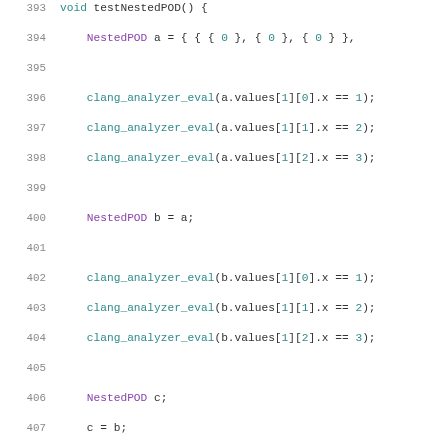[Figure (screenshot): Source code listing lines 393-414 showing C++ test function testNestedPOD with clang_analyzer_eval calls and struct NonPOD declaration]